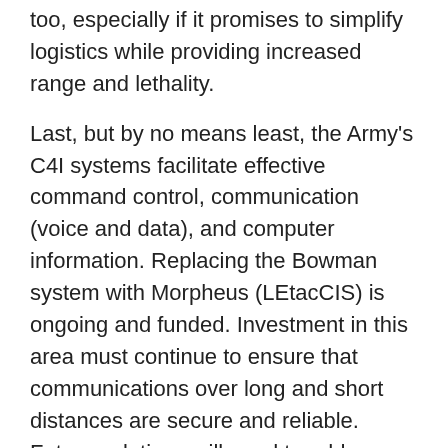too, especially if it promises to simplify logistics while providing increased range and lethality.
Last, but by no means least, the Army's C4I systems facilitate effective command control, communication (voice and data), and computer information. Replacing the Bowman system with Morpheus (LEtacCIS) is ongoing and funded. Investment in this area must continue to ensure that communications over long and short distances are secure and reliable. Future solutions will need to address cyber warfare, electronic warfare (intercepting and jamming enemy communications) and the hardening of systems against attack.